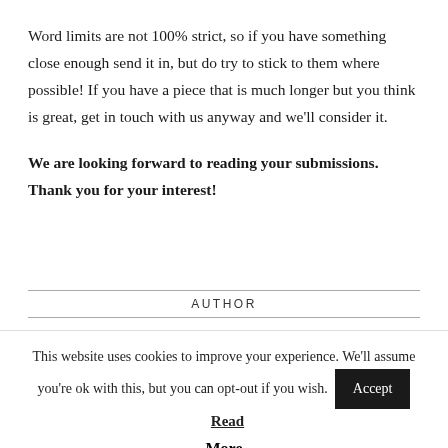Word limits are not 100% strict, so if you have something close enough send it in, but do try to stick to them where possible! If you have a piece that is much longer but you think is great, get in touch with us anyway and we'll consider it.
We are looking forward to reading your submissions. Thank you for your interest!
AUTHOR
This website uses cookies to improve your experience. We'll assume you're ok with this, but you can opt-out if you wish. Accept Read More